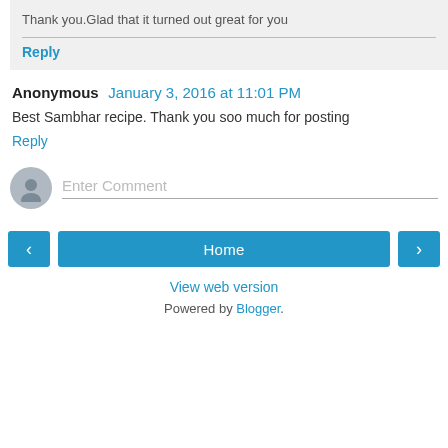Thank you.Glad that it turned out great for you
Reply
Anonymous  January 3, 2016 at 11:01 PM
Best Sambhar recipe. Thank you soo much for posting
Reply
Enter Comment
Home
View web version
Powered by Blogger.